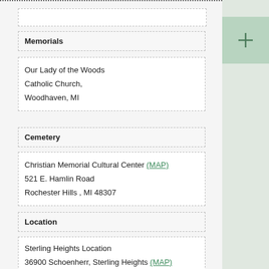Where — St. Katharine Drexel University, May 20th
Memorials
Our Lady of the Woods
Catholic Church,
Woodhaven, MI
Cemetery
Christian Memorial Cultural Center (MAP)
521 E. Hamlin Road
Rochester Hills , MI 48307
Location
Sterling Heights Location
36900 Schoenherr, Sterling Heights (MAP)
(586) 826-8550